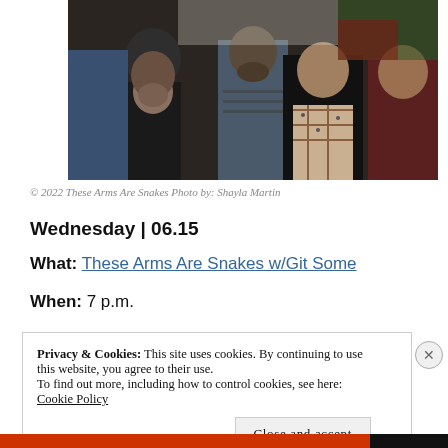[Figure (photo): Group photo of four band members in a dimly lit indoor setting. One man in black on the left with head down, one with a beard in a striped shirt behind, one in the center wearing a plaid scarf and dark jacket looking up, and one on the right in a dark red shirt.]
© 2022 These Arms Are Snakes Photo by: Shayla Martin
Wednesday | 06.15
What: These Arms Are Snakes w/Git Some
When: 7 p.m.
Privacy & Cookies: This site uses cookies. By continuing to use this website, you agree to their use.
To find out more, including how to control cookies, see here: Cookie Policy
Close and accept